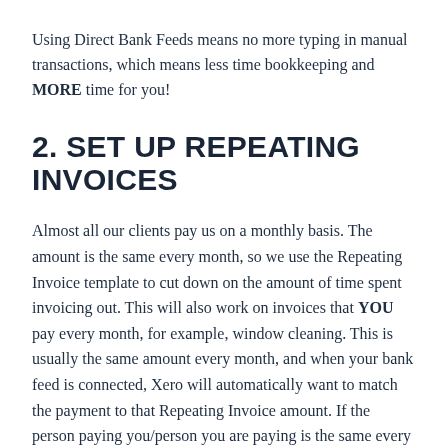Using Direct Bank Feeds means no more typing in manual transactions, which means less time bookkeeping and MORE time for you!
2. SET UP REPEATING INVOICES
Almost all our clients pay us on a monthly basis. The amount is the same every month, so we use the Repeating Invoice template to cut down on the amount of time spent invoicing out. This will also work on invoices that YOU pay every month, for example, window cleaning. This is usually the same amount every month, and when your bank feed is connected, Xero will automatically want to match the payment to that Repeating Invoice amount. If the person paying you/person you are paying is the same every month but the amount changes, Xero can be set so that you can edit the amounts BEFORE they go